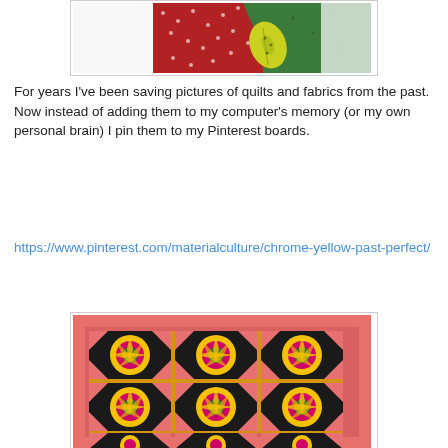[Figure (photo): Partial view of a quilt with red, green, and yellow fabric pieces on white background]
For years I've been saving pictures of quilts and fabrics from the past. Now instead of adding them to my computer's memory (or my own personal brain) I pin them to my Pinterest boards.
https://www.pinterest.com/materialculture/chrome-yellow-past-perfect/
[Figure (photo): A quilt with sunflower/starburst pattern blocks arranged in a 3x3 grid with pink/red border and black, yellow, green, pink color scheme]